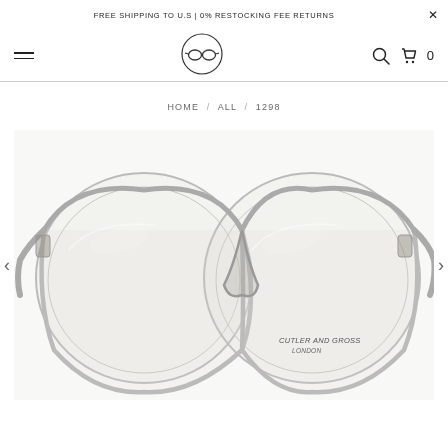FREE SHIPPING TO U.S | 0% RESTOCKING FEE RETURNS
[Figure (logo): Cutler and Gross logo: eyeglasses icon inside a circle, used as website navigation logo]
HOME / ALL / 1298
[Figure (photo): Clear/transparent acetate eyeglasses frames by Cutler and Gross, London. Large round lenses with a subtle cat-eye shape. The frames are nearly invisible with light gray/crystal color. Brand text 'CUTLER AND GROSS LONDON' visible on the inner lower right lens.]